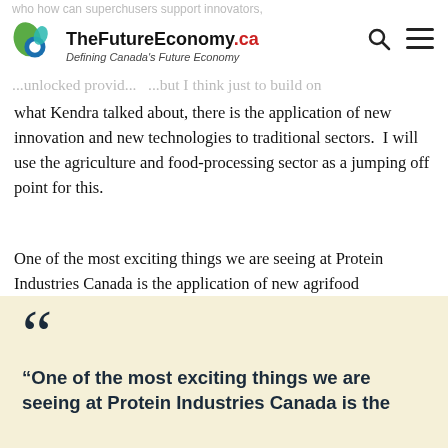TheFutureEconomy.ca – Defining Canada's Future Economy
what Kendra talked about, there is the application of new innovation and new technologies to traditional sectors.  I will use the agriculture and food-processing sector as a jumping off point for this.
One of the most exciting things we are seeing at Protein Industries Canada is the application of new agrifood technologies to the sector, so that is Internet of Things (IoT), machine learning, automation—all of that technology that has been developed for other industries being applied to agriculture.
“One of the most exciting things we are seeing at Protein Industries Canada is the